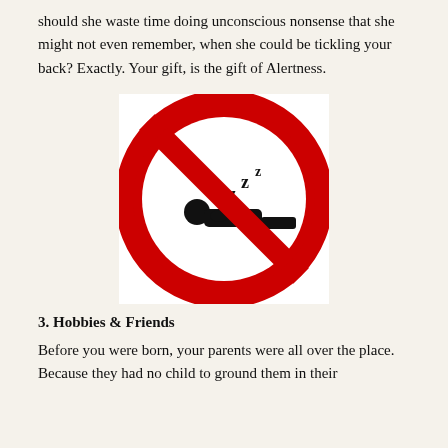should she waste time doing unconscious nonsense that she might not even remember, when she could be tickling your back? Exactly. Your gift, is the gift of Alertness.
[Figure (illustration): A no-sleeping prohibition sign: red circle with diagonal red bar over a black pictogram of a person sleeping on a surface with ZZZ letters above them.]
3. Hobbies & Friends
Before you were born, your parents were all over the place. Because they had no child to ground them in their